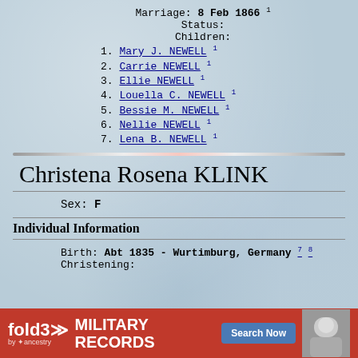Marriage: 8 Feb 1866 1
Status:
Children:
1. Mary J. NEWELL 1
2. Carrie NEWELL 1
3. Ellie NEWELL 1
4. Louella C. NEWELL 1
5. Bessie M. NEWELL 1
6. Nellie NEWELL 1
7. Lena B. NEWELL 1
Christena Rosena KLINK
Sex: F
Individual Information
Birth: Abt 1835 - Wurtimburg, Germany 7 8
Christening:
[Figure (other): Fold3 military records advertisement banner with red background, fold3 logo, MILITARY RECORDS text, Search Now button, and soldier photo]